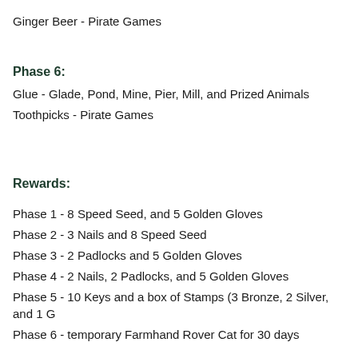Ginger Beer - Pirate Games
Phase 6:
Glue - Glade, Pond, Mine, Pier, Mill, and Prized Animals
Toothpicks - Pirate Games
Rewards:
Phase 1 - 8 Speed Seed, and 5 Golden Gloves
Phase 2 - 3 Nails and 8 Speed Seed
Phase 3 - 2 Padlocks and 5 Golden Gloves
Phase 4 - 2 Nails, 2 Padlocks, and 5 Golden Gloves
Phase 5 - 10 Keys and a box of Stamps (3 Bronze, 2 Silver, and 1 G
Phase 6 - temporary Farmhand Rover Cat for 30 days